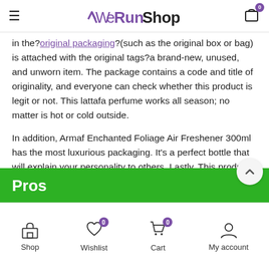WeRunShop
in the? original packaging? (such as the original box or bag) is attached with the original tags?a brand-new, unused, and unworn item. The package contains a code and title of originality, and everyone can check whether this product is legit or not. This lattafa perfume works all season; no matter is hot or cold outside.
In addition, Armaf Enchanted Foliage Air Freshener 300ml has the most luxurious packaging. It's a perfect bottle that will explain your personality to others. Lastly, This product from the original brand falls into the perfume category and is the best product. The box contains a code and tag of originality, and everyone can check whether this product is legit or not. This lattafa perfume works all season, whether hot or cold outside.
Pros
Shop   Wishlist   Cart   My account